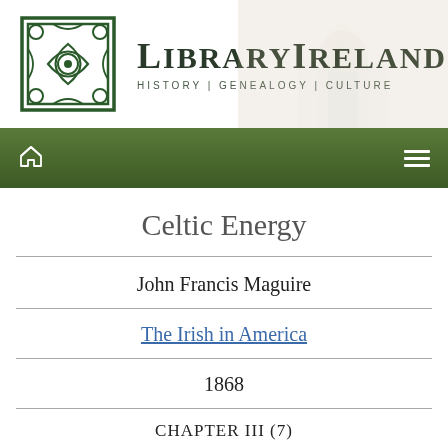LibraryIreland — History | Genealogy | Culture
Celtic Energy
John Francis Maguire
The Irish in America
1868
CHAPTER III (7)